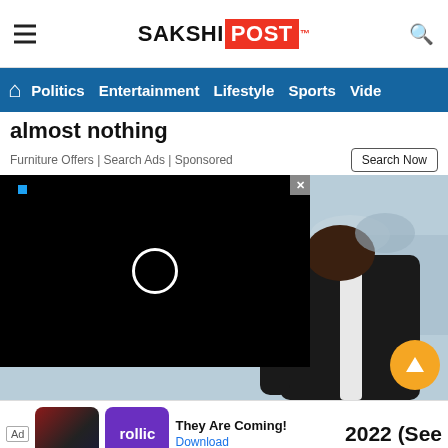SAKSHI POST
Politics | Entertainment | Lifestyle | Sports | Video
almost nothing
Furniture Offers | Search Ads | Sponsored
[Figure (screenshot): Video player overlay (black) with loading spinner and a close (X) button, overlaid on an article photo of a woman in black and white athletic wear]
They Are Coming!
Download
2022 (See